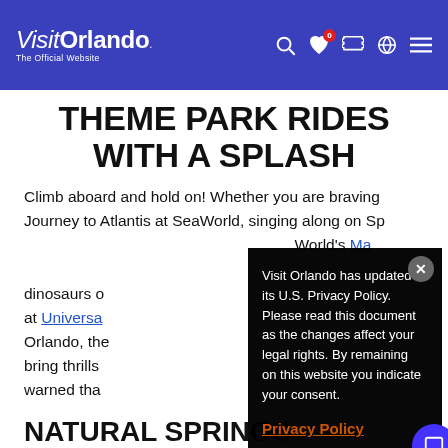Visit Orlando - The Official Website
THEME PARK RIDES WITH A SPLASH
Climb aboard and hold on! Whether you are braving Journey to Atlantis at SeaWorld, singing along on Sp... World's Ma... dinosaurs o... at Universa... Orlando, the... bring thrills... warned tha...
Visit Orlando has updated its U.S. Privacy Policy. Please read this document as the changes affect your legal rights. By remaining on this website you indicate your consent.
Privacy Policy
NATURAL SPRINGS